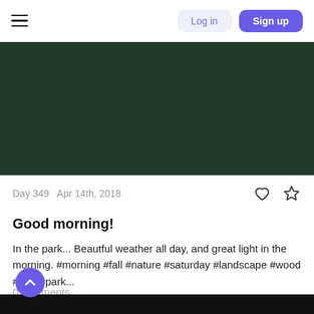Log in  Sign up
[Figure (photo): Dark green nature/park landscape photo used as hero image]
Day 349  Apr 14th, 2018
Good morning!
In the park... Beautful weather all day, and great light in the morning. #morning #fall #nature #saturday #landscape #wood #tree #park...
0 comments